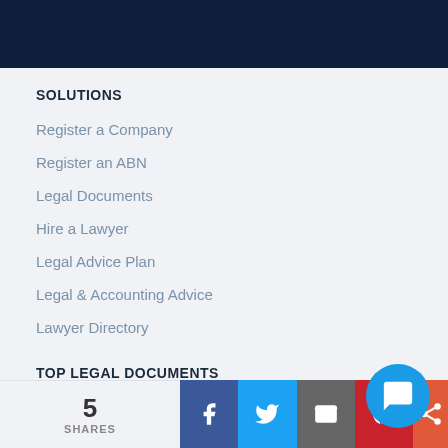SOLUTIONS
Register a Company
Register an ABN
Legal Documents
Hire a Lawyer
Legal Advice Plan
Legal & Accounting Advice
Lawyer Directory
TOP LEGAL DOCUMENTS
Privacy Policy
5 SHARES